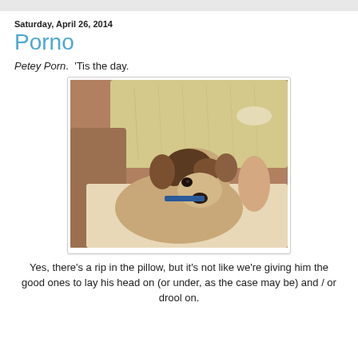Saturday, April 26, 2014
Porno
Petey Porn.  'Tis the day.
[Figure (photo): A dog (appears to be a small brown and tan dog) resting its head on blankets and pillows, with a blue collar visible. A pillow with a rip is visible behind the dog.]
Yes, there's a rip in the pillow, but it's not like we're giving him the good ones to lay his head on (or under, as the case may be) and / or drool on.